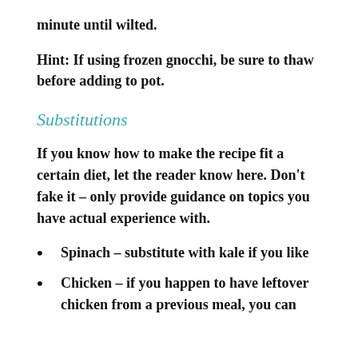minute until wilted.
Hint: If using frozen gnocchi, be sure to thaw before adding to pot.
Substitutions
If you know how to make the recipe fit a certain diet, let the reader know here. Don't fake it – only provide guidance on topics you have actual experience with.
Spinach – substitute with kale if you like
Chicken – if you happen to have leftover chicken from a previous meal, you can